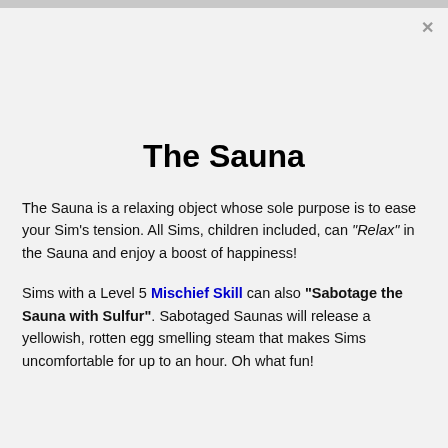The Sauna
The Sauna is a relaxing object whose sole purpose is to ease your Sim's tension. All Sims, children included, can "Relax" in the Sauna and enjoy a boost of happiness!
Sims with a Level 5 Mischief Skill can also "Sabotage the Sauna with Sulfur". Sabotaged Saunas will release a yellowish, rotten egg smelling steam that makes Sims uncomfortable for up to an hour. Oh what fun!